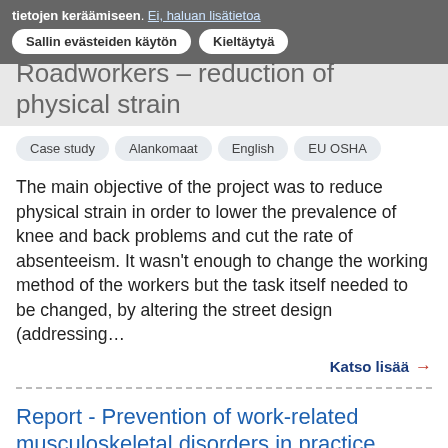Roadworkers – reduction of physical strain
[Figure (screenshot): Cookie consent banner overlay in Finnish with buttons 'Sallin evästeiden käytön' and 'Kieltäytyä' and text 'tietojen keräämiseen. Ei, haluan lisätietoa']
Case study
Alankomaat
English
EU OSHA
The main objective of the project was to reduce physical strain in order to lower the prevalence of knee and back problems and cut the rate of absenteeism. It wasn't enough to change the working method of the workers but the task itself needed to be changed, by altering the street design (addressing…
Katso lisää →
Report - Prevention of work-related musculoskeletal disorders in practice